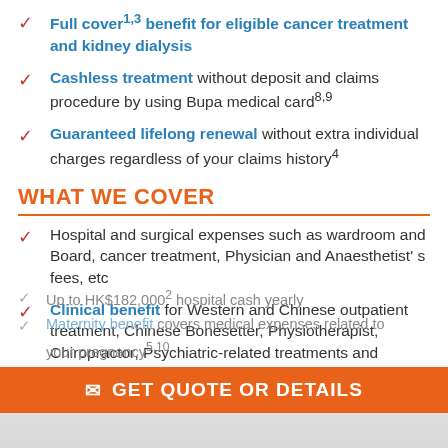Full cover1,3 benefit for eligible cancer treatment and kidney dialysis
Cashless treatment without deposit and claims procedure by using Bupa medical card8,9
Guaranteed lifelong renewal without extra individual charges regardless of your claims history4
WHAT WE COVER
Hospital and surgical expenses such as wardroom and Board, cancer treatment, Physician and Anaesthetist' s fees, etc
Clinical benefit for Western and Chinese outpatient treatment, Chinese Bonesetter, Physiotherapist, Chiropractor, Psychiatric-related treatments and Psychological Counselling, etc
Up to HK$182,0002 hospital cash yearly
Maternity benefit covers medical expenses related to your pregnancy5,10
GET QUOTE OR DETAILS